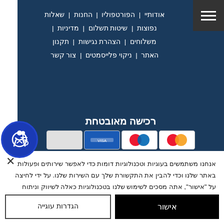[Figure (screenshot): Website navigation menu on dark blue background with Hebrew menu items: אודותיי, הפורטפוליו, החנות, שאלות, נפוצות, שיטות תשלום, מדיניות, משלוחים, הצהרת נגישות, תקנון האתר, ניקוי פלייסמטים, צור קשר]
רכישה מאובטחת
אנחנו משתמשים בעוגיות וטכנולוגיות דומות כדי לאפשר שירותים ופעולות באתר שלנו וכדי להבין את התקשורת שלך עם השירות שלנו. על ידי לחיצה על "אישור", אתה מסכים לשימוש שלנו בטכנולוגיות כאלה לשיווק וניתוח מידע. לצפייה במדיניות הפרטיות
אישור
הגדרות עוגייה